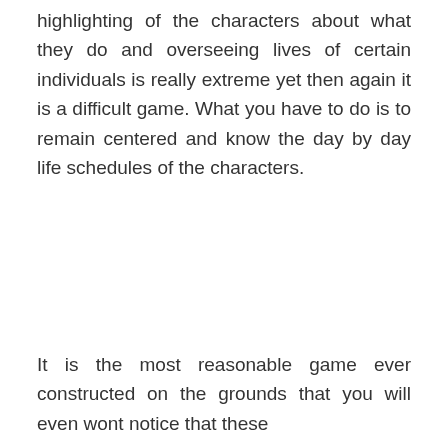highlighting of the characters about what they do and overseeing lives of certain individuals is really extreme yet then again it is a difficult game. What you have to do is to remain centered and know the day by day life schedules of the characters.
It is the most reasonable game ever constructed on the grounds that you will even wont notice that these